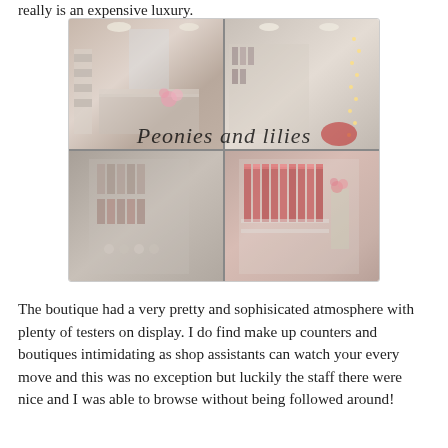really is an expensive luxury.
[Figure (photo): Collage of four photos showing a cosmetics boutique interior with makeup displays, testers, lipsticks in acrylic holders, and product shelves. The watermark text 'Peonies and lilies' is overlaid in italic script across the center of the collage.]
The boutique had a very pretty and sophisicated atmosphere with plenty of testers on display. I do find make up counters and boutiques intimidating as shop assistants can watch your every move and this was no exception but luckily the staff there were nice and I was able to browse without being followed around!